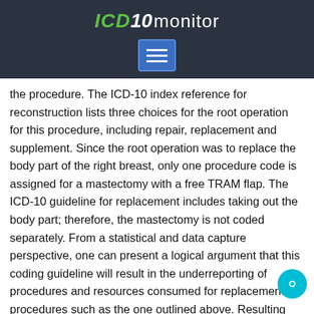ICD10 monitor
[Figure (other): Menu/hamburger icon button in blue square]
the procedure. The ICD-10 index reference for reconstruction lists three choices for the root operation for this procedure, including repair, replacement and supplement. Since the root operation was to replace the body part of the right breast, only one procedure code is assigned for a mastectomy with a free TRAM flap. The ICD-10 guideline for replacement includes taking out the body part; therefore, the mastectomy is not coded separately. From a statistical and data capture perspective, one can present a logical argument that this coding guideline will result in the underreporting of procedures and resources consumed for replacement procedures such as the one outlined above. Resulting may be difficulties in identifying patient populations that ha undergone a mastectomy with free TRAM flap.